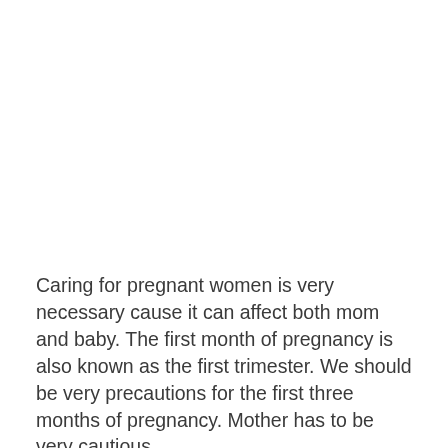Caring for pregnant women is very necessary cause it can affect both mom and baby. The first month of pregnancy is also known as the first trimester. We should be very precautions for the first three months of pregnancy. Mother has to be very cautious